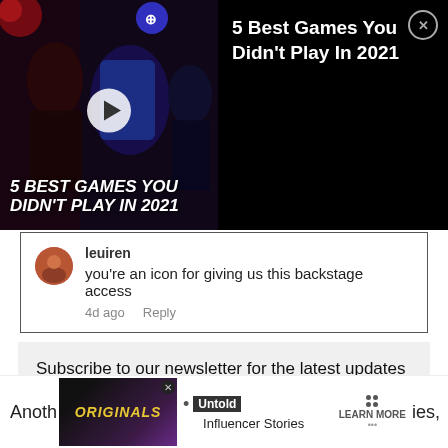[Figure (screenshot): Video player thumbnail showing '5 Best Games You Didn't Play In 2021' with game art and play button]
5 Best Games You Didn't Play In 2021
you're an icon for giving us this backstage access
4d ago   Reply
Subscribe to our newsletter for the latest updates on Esports, Gaming and more.
Email
Sign up
[Figure (screenshot): Advertisement banner with Originals logo, Untold Influencer Stories, and Learn More button]